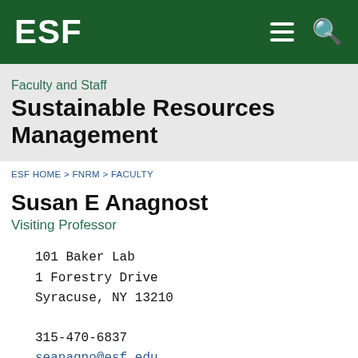ESF
Faculty and Staff
Sustainable Resources Management
ESF HOME > FNRM > FACULTY
Susan E Anagnost
Visiting Professor
101 Baker Lab
1 Forestry Drive
Syracuse, NY 13210
315-470-6837
seanagno@esf.edu